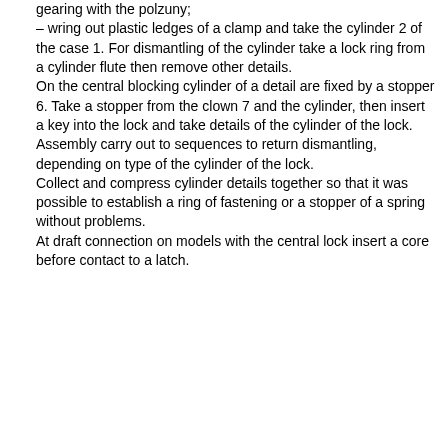gearing with the polzuny; – wring out plastic ledges of a clamp and take the cylinder 2 of the case 1. For dismantling of the cylinder take a lock ring from a cylinder flute then remove other details. On the central blocking cylinder of a detail are fixed by a stopper 6. Take a stopper from the clown 7 and the cylinder, then insert a key into the lock and take details of the cylinder of the lock. Assembly carry out to sequences to return dismantling, depending on type of the cylinder of the lock. Collect and compress cylinder details together so that it was possible to establish a ring of fastening or a stopper of a spring without problems. At draft connection on models with the central lock insert a core before contact to a latch.